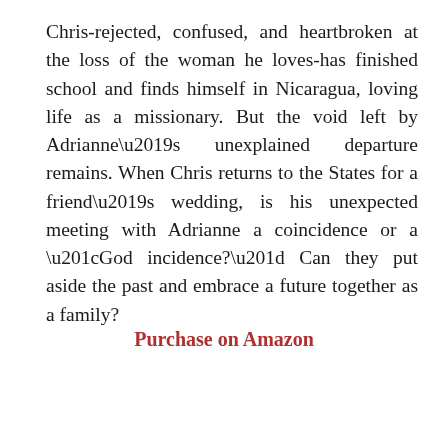Chris-rejected, confused, and heartbroken at the loss of the woman he loves-has finished school and finds himself in Nicaragua, loving life as a missionary. But the void left by Adrianne's unexplained departure remains. When Chris returns to the States for a friend's wedding, is his unexpected meeting with Adrianne a coincidence or a “God incidence?” Can they put aside the past and embrace a future together as a family?
Purchase on Amazon